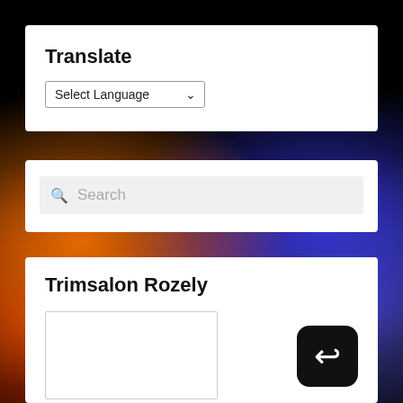Translate
Select Language
Search
Trimsalon Rozely
[Figure (screenshot): Share/upload icon button — black rounded square with white upward arrow]